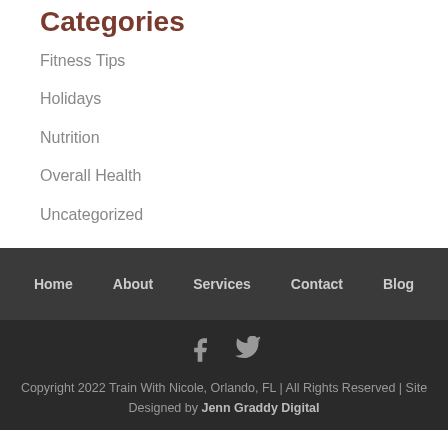Categories
Fitness Tips
Holidays
Nutrition
Overall Health
Uncategorized
Home   About   Services   Contact   Blog
Copyright 2022 Train With Nicole, Orlando, FL | All Rights Reserved | Site Designed by Jenn Graddy Digital